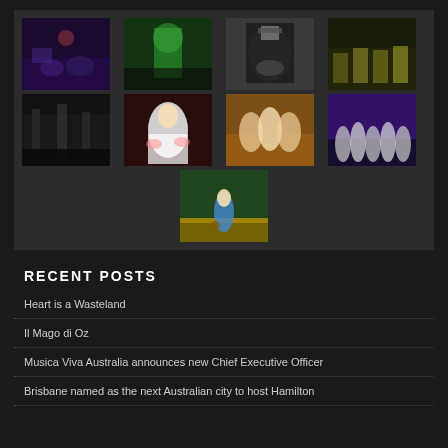[Figure (photo): Gallery of 9 theater/musical performance photos arranged in a 4-4-1 grid on a dark background. Row 1: two actors on stage with blue lighting, green lit stage set, person with large black umbrella, Hamilton-style performers. Row 2: dark stage scene with trees, performer in white dress with raised hands, ornate orange/gold costume scene, performers on purple-lit stage. Row 3 center: Dorothy from Wizard of Oz walking on yellow brick road.]
RECENT POSTS
Heart is a Wasteland
Il Mago di Oz
Musica Viva Australia announces new Chief Executive Officer
Brisbane named as the next Australian city to host Hamilton